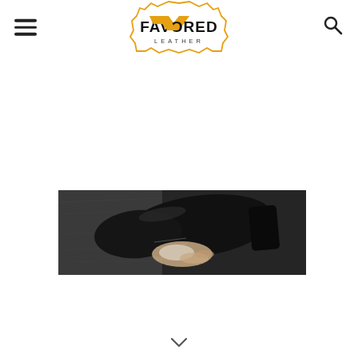[Figure (logo): Favored Leather logo — orange geometric badge shape with a bold arrow/chevron mark and the text FAVORED LEATHER beneath]
[Figure (photo): Close-up photo of a hand polishing a black leather dress shoe on a dark wooden floor surface]